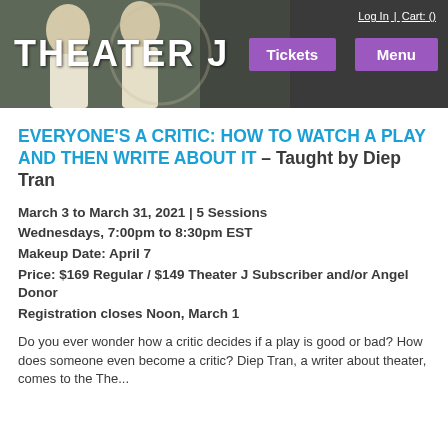[Figure (screenshot): Theater J website header with photo of two performers in white shirts, Theater J logo text, Tickets and Menu purple buttons, and Log In | Cart: () navigation links]
EVERYONE'S A CRITIC: HOW TO WATCH A PLAY AND THEN WRITE ABOUT IT – Taught by Diep Tran
March 3 to March 31, 2021 | 5 Sessions
Wednesdays, 7:00pm to 8:30pm EST
Makeup Date: April 7
Price: $169 Regular / $149 Theater J Subscriber and/or Angel Donor
Registration closes Noon, March 1
Do you ever wonder how a critic decides if a play is good or bad? How does someone even become a critic? Diep Tran, a writer about theater, comes to the The...